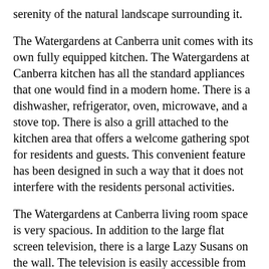serenity of the natural landscape surrounding it.
The Watergardens at Canberra unit comes with its own fully equipped kitchen. The Watergardens at Canberra kitchen has all the standard appliances that one would find in a modern home. There is a dishwasher, refrigerator, oven, microwave, and a stove top. There is also a grill attached to the kitchen area that offers a welcome gathering spot for residents and guests. This convenient feature has been designed in such a way that it does not interfere with the residents personal activities.
The Watergardens at Canberra living room space is very spacious. In addition to the large flat screen television, there is a large Lazy Susans on the wall. The television is easily accessible from the dining area, and there is a separate sitting area just off of the dining area. This gives the residents a wide array of options in their room design. They can choose to sit back and enjoy a movie,